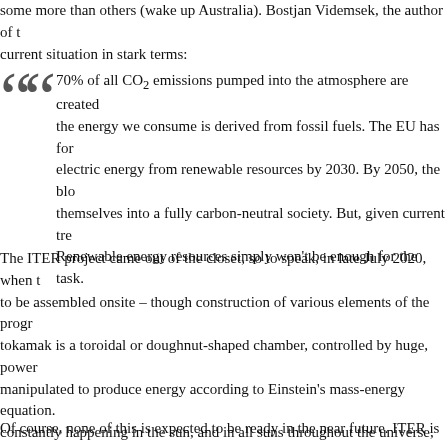some more than others (wake up Australia). Bostjan Videmsek, the author of the current situation in stark terms:
70% of all CO2 emissions pumped into the atmosphere are created the energy we consume is derived from fossil fuels. The EU has for electric energy from renewable resources by 2030. By 2050, the blo themselves into a fully carbon-neutral society. But, given current tre Renewable energy resources simply won't be enough for the task.
The ITER project came out of the closet, so to speak, in late July 2020, when t to be assembled onsite – though construction of various elements of the progr tokamak is a toroidal or doughnut-shaped chamber, controlled by huge, power manipulated to produce energy according to Einstein's mass-energy equation. constantly happening in the sun, and in all suns throughout the universe, and t but ITER's scientists are hoping to improve on the sun's processes. Hydrogen in fusion – the fusion process is quite slow. Recognising this, researchers look process. Hydrogen's most common form, consisting simply of a proton and an are two other isotopes, deuterium and tritium, containing an additional one and of fusion reaction for producing energy is DT fusion, using deuterium and tritiu temperature. The problem is with the tritium, a highly radioactive and unstable at about US$30,000 per gram. The rarity, though, is related to low demand, an own supply of the isotope.
Of course, none of this is expected to be ready in the near future. ITER is esse